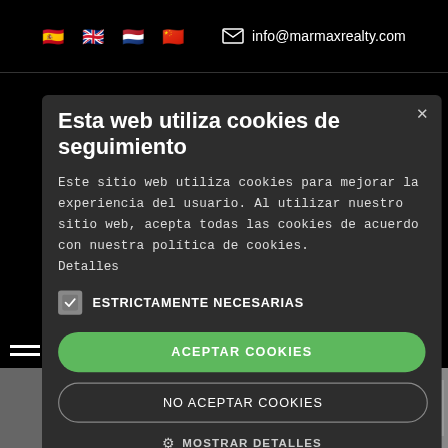[Figure (screenshot): Website header with language flags (Spanish, UK, Dutch, Chinese) and email address info@marmaxrealty.com on dark background]
Esta web utiliza cookies de seguimiento
Este sitio web utiliza cookies para mejorar la experiencia del usuario. Al utilizar nuestro sitio web, acepta todas las cookies de acuerdo con nuestra política de cookies. Detalles
ESTRICTAMENTE NECESARIAS
ACEPTAR COOKIES
NO ACEPTAR COOKIES
MOSTRAR DETALLES
POWERED BY COOKIE-SCRIPT